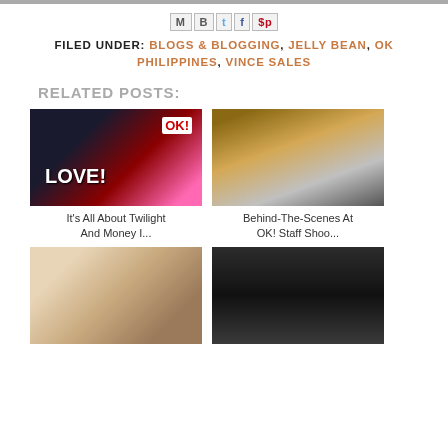Share icons: M, B, t, f, p
FILED UNDER: BLOGS & BLOGGING, JELLY BEAN, OK PHILIPPINES, VINCE SALES
RELATED POSTS:
[Figure (photo): Magazine cover showing Twilight cast with text LOVE!]
It's All About Twilight And Money I...
[Figure (photo): Behind the scenes photo at OK staff shoot, person taking selfie in mirror]
Behind-The-Scenes At OK! Staff Shoo...
[Figure (photo): Stars photo with Best Dressed Stars 2012 magazine]
[Figure (photo): Person in dark setting holding magazine]